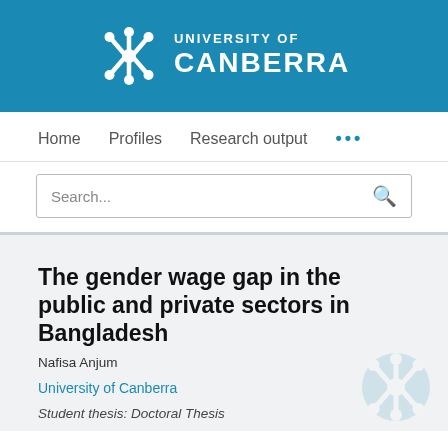UNIVERSITY OF CANBERRA
Home   Profiles   Research output   ...
Search...
The gender wage gap in the public and private sectors in Bangladesh
Nafisa Anjum
University of Canberra
Student thesis: Doctoral Thesis